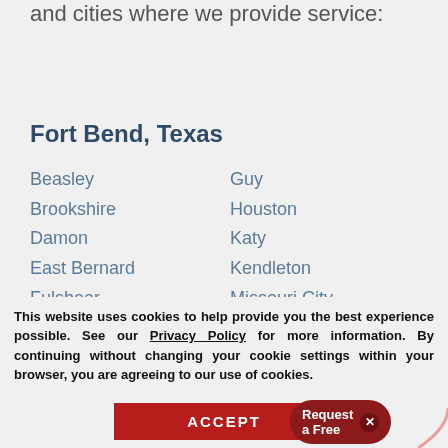shows the various countries and cities where we provide service:
Fort Bend, Texas
Beasley
Guy
Brookshire
Houston
Damon
Katy
East Bernard
Kendleton
Fulshear
Missouri City
Needville
Staff
This website uses cookies to help provide you the best experience possible. See our Privacy Policy for more information. By continuing without changing your cookie settings within your browser, you are agreeing to our use of cookies.
ACCEPT